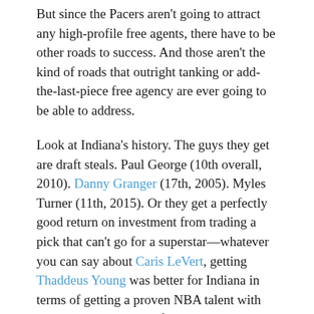But since the Pacers aren't going to attract any high-profile free agents, there have to be other roads to success. And those aren't the kind of roads that outright tanking or add-the-last-piece free agency are ever going to be able to address.
Look at Indiana's history. The guys they get are draft steals. Paul George (10th overall, 2010). Danny Granger (17th, 2005). Myles Turner (11th, 2015). Or they get a perfectly good return on investment from trading a pick that can't go for a superstar—whatever you can say about Caris LeVert, getting Thaddeus Young was better for Indiana in terms of getting a proven NBA talent with the 20th pick in the draft via trade.
So Mediocrity Hell doesn't matter. Developing young talent and trying to build a core that ends up greater than the sum of its parts matters. And while nobody's